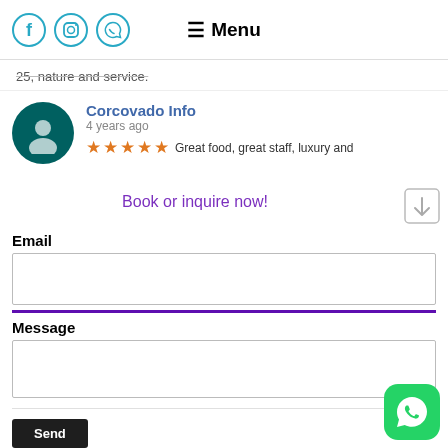Menu
...nature and service.
Corcovado Info
4 years ago
★★★★★ Great food, great staff, luxury and
Book or inquire now!
Email
Message
Send